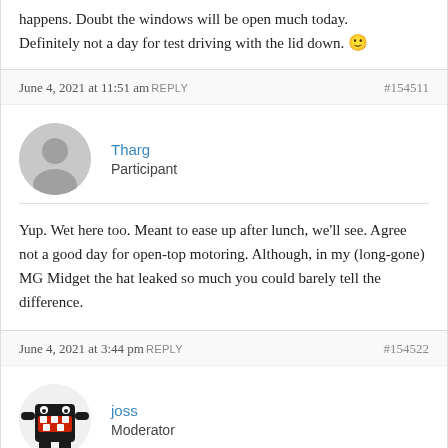happens. Doubt the windows will be open much today.

Definitely not a day for test driving with the lid down. 🙂
June 4, 2021 at 11:51 am REPLY #154511
Tharg
Participant
Yup. Wet here too. Meant to ease up after lunch, we'll see. Agree not a good day for open-top motoring. Although, in my (long-gone) MG Midget the hat leaked so much you could barely tell the difference.
June 4, 2021 at 3:44 pm REPLY #154522
joss
Moderator
Good grief ! It's unbelievable lvl of humidity here today.